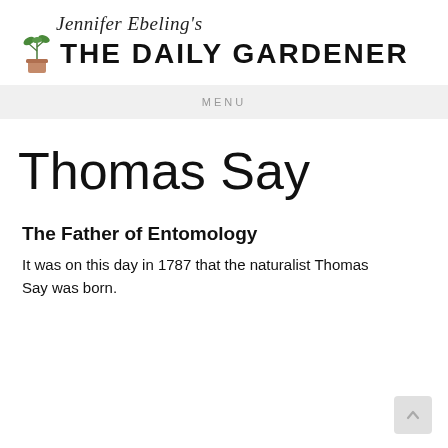[Figure (logo): Jennifer Ebeling's The Daily Gardener logo with script text and potted plant illustration]
MENU
Thomas Say
The Father of Entomology
It was on this day in 1787 that the naturalist Thomas Say was born.